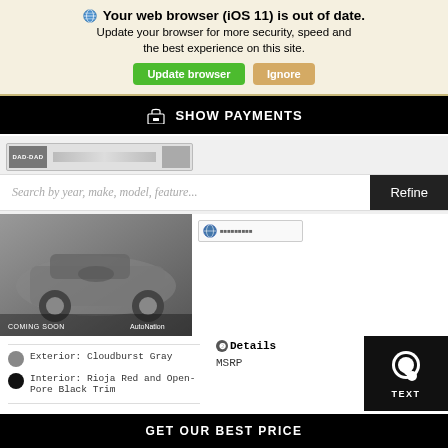🌐 Your web browser (iOS 11) is out of date. Update your browser for more security, speed and the best experience on this site.
Update browser
Ignore
🏠 SHOW PAYMENTS
[Figure (screenshot): AutoNation dealer logo banner strip]
Search by year, make, model, feature...
Refine
[Figure (photo): Lexus car photo, Coming Soon, AutoNation watermark]
[Figure (logo): Lexus dealer small logo]
❷Details
MSRP
Exterior: Cloudburst Gray
Interior: Rioja Red and Open-Pore Black Trim
TEXT
GET OUR BEST PRICE